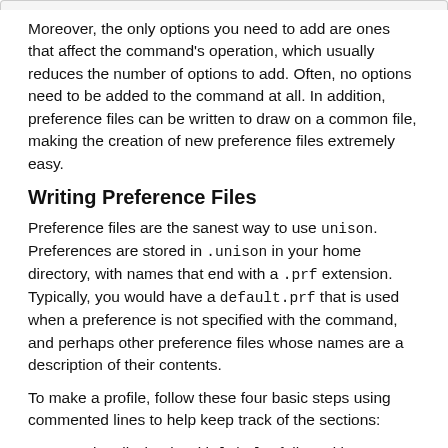Moreover, the only options you need to add are ones that affect the command's operation, which usually reduces the number of options to add. Often, no options need to be added to the command at all. In addition, preference files can be written to draw on a common file, making the creation of new preference files extremely easy.
Writing Preference Files
Preference files are the sanest way to use unison. Preferences are stored in .unison in your home directory, with names that end with a .prf extension. Typically, you would have a default.prf that is used when a preference is not specified with the command, and perhaps other preference files whose names are a description of their contents.
To make a profile, follow these four basic steps using commented lines to help keep track of the sections:
Optionally, begin with label=, followed by a description of what contents the preference file is designed to sync. This field has no effect on how unison interacts with the preference file, being intended only for human convenience.